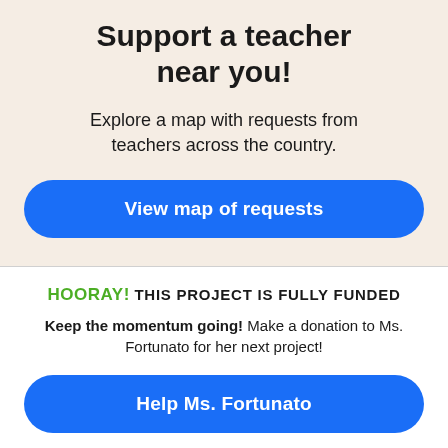Support a teacher near you!
Explore a map with requests from teachers across the country.
View map of requests
HOORAY! THIS PROJECT IS FULLY FUNDED
Keep the momentum going! Make a donation to Ms. Fortunato for her next project!
Help Ms. Fortunato